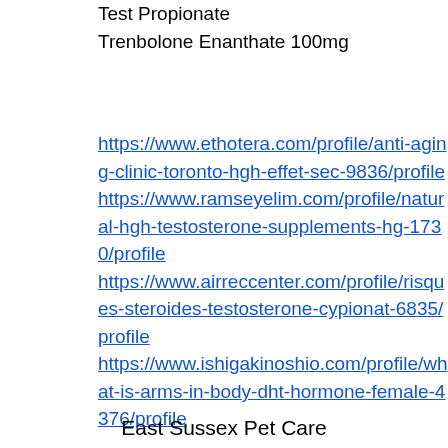Test Propionate
Trenbolone Enanthate 100mg
https://www.ethotera.com/profile/anti-aging-clinic-toronto-hgh-effet-sec-9836/profile
https://www.ramseyelim.com/profile/natural-hgh-testosterone-supplements-hg-1730/profile
https://www.airreccenter.com/profile/risques-steroides-testosterone-cypionat-6835/profile
https://www.ishigakinoshio.com/profile/what-is-arms-in-body-dht-hormone-female-4376/profile
East Sussex Pet Care